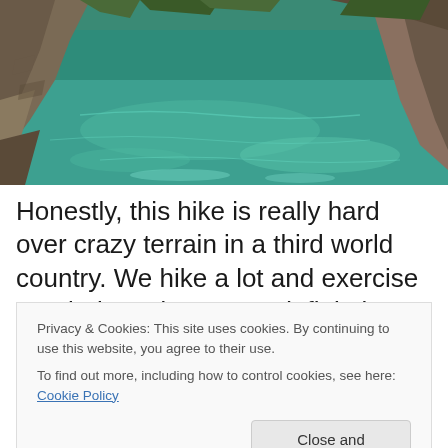[Figure (photo): A narrow canyon gorge with turquoise-green water flowing through rock walls, photographed from water level looking up at the canyon. Rocky walls frame both sides, vegetation visible at the top.]
Honestly, this hike is really hard over crazy terrain in a third world country. We hike a lot and exercise regularly and we were definitely struggling. It's certainly not for the
Privacy & Cookies: This site uses cookies. By continuing to use this website, you agree to their use.
To find out more, including how to control cookies, see here: Cookie Policy
Close and accept